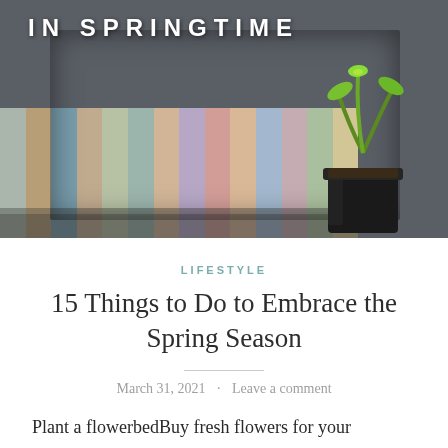[Figure (photo): Hero image showing colorful painted wooden planks/boards in background with a black plant pot containing green sprouts on the right side. Text overlay reads 'IN SPRINGTIME' in white bold uppercase letters.]
LIFESTYLE
15 Things to Do to Embrace the Spring Season
March 31, 2021 · Leave a comment
Plant a flowerbedBuy fresh flowers for your homeDo a rejuvenating yoga flowA fresh coat of paint in your homeGo for a mindful spring walkRead a feel-good bookJournal on how you felt in WinterMeet up with people who make you feel